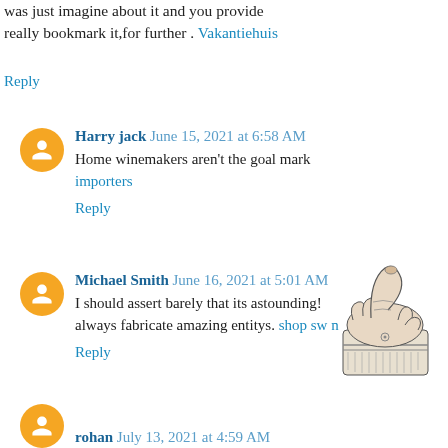was just imagine about it and you provide really bookmark it,for further . Vakantiehuis
Reply
Harry jack June 15, 2021 at 6:58 AM
Home winemakers aren't the goal mark importers
Reply
Michael Smith June 16, 2021 at 5:01 AM
I should assert barely that its astounding! always fabricate amazing entitys. shop sw n
Reply
[Figure (illustration): A vintage pointing hand/finger illustration in black and white engraving style]
rohan July 13, 2021 at 4:59 AM